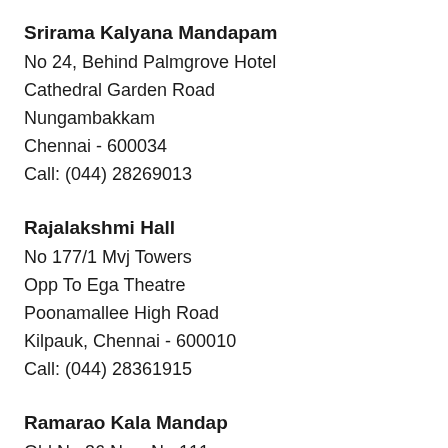Srirama Kalyana Mandapam
No 24, Behind Palmgrove Hotel
Cathedral Garden Road
Nungambakkam
Chennai - 600034
Call: (044) 28269013
Rajalakshmi Hall
No 177/1 Mvj Towers
Opp To Ega Theatre
Poonamallee High Road
Kilpauk, Chennai - 600010
Call: (044) 28361915
Ramarao Kala Mandap
Old No 36 New No 111